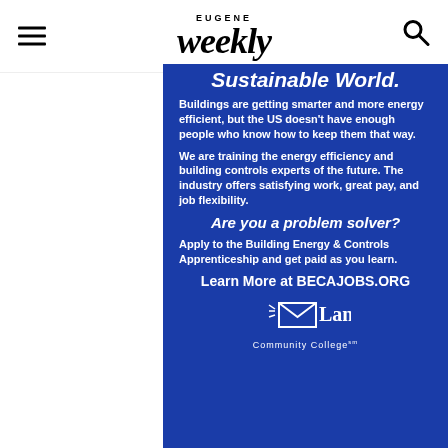Eugene Weekly
Sustainable World.
Buildings are getting smarter and more energy efficient, but the US doesn't have enough people who know how to keep them that way.
We are training the energy efficiency and building controls experts of the future. The industry offers satisfying work, great pay, and job flexibility.
Are you a problem solver?
Apply to the Building Energy & Controls Apprenticeship and get paid as you learn.
Learn More at BECAJOBS.ORG
[Figure (logo): Lane Community College logo with white envelope/book icon and text]